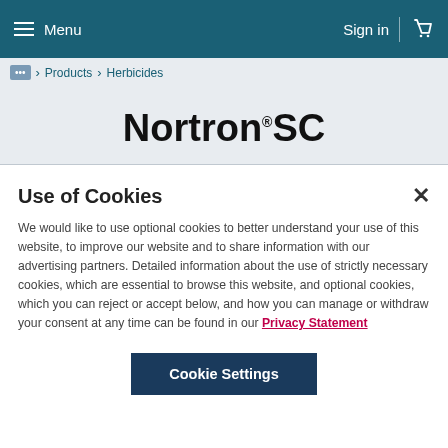Menu  Sign in
... > Products > Herbicides
Nortron® SC
Use of Cookies
We would like to use optional cookies to better understand your use of this website, to improve our website and to share information with our advertising partners. Detailed information about the use of strictly necessary cookies, which are essential to browse this website, and optional cookies, which you can reject or accept below, and how you can manage or withdraw your consent at any time can be found in our Privacy Statement
Cookie Settings